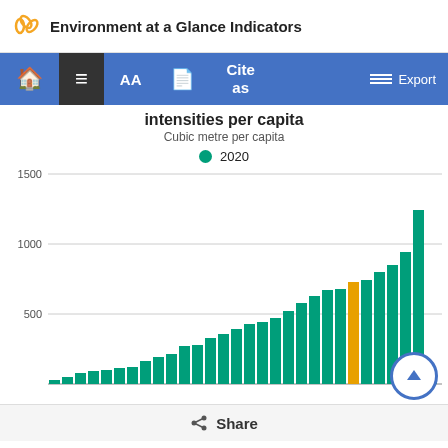Environment at a Glance Indicators
[Figure (bar-chart): intensities per capita]
Share